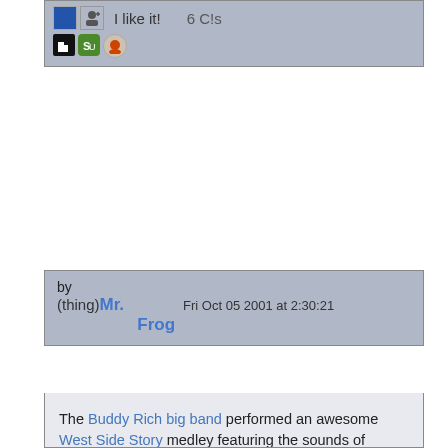[Figure (screenshot): Social sharing widget bar with icons (Delicious, person icon), 'I like it!' text, '6 C!s' text, StumbleUpon and Reddit icons on a grey-blue background]
by (thing)Mr. Frog   Fri Oct 05 2001 at 2:30:21
The Buddy Rich big band performed an awesome West Side Story medley featuring the sounds of Maynard Ferguson on the trumpet. In the middle of the medley, Buddy Rich goes on playing one of the best drum solos that I have ever heard. There is an amazing amount of talent in this recording. Maynard Ferguson is always great to listen too, and the skill of